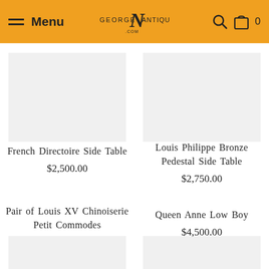Menu | George N Antiques | Search | Bag 0
French Directoire Side Table
$2,500.00
Louis Philippe Bronze Pedestal Side Table
$2,750.00
Pair of Louis XV Chinoiserie Petit Commodes
Queen Anne Low Boy
$4,500.00